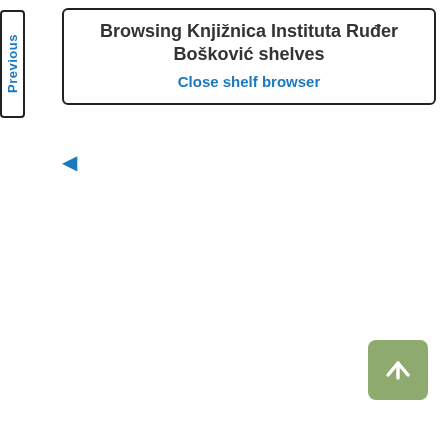Browsing Knjižnica Instituta Ruđer Bošković shelves
Close shelf browser
[Figure (screenshot): A shelf browser UI panel with title 'Browsing Knjižnica Instituta Ruđer Bošković shelves', a 'Close shelf browser' link, a back arrow, a 'Previous' vertical tab on the left, and a green scroll-to-top button at the bottom right.]